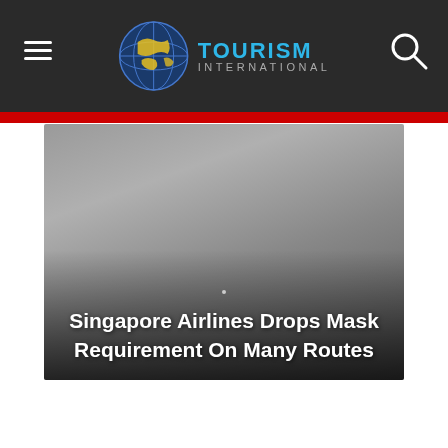TOURISM INTERNATIONAL
[Figure (photo): Hero image with gradient overlay showing an airplane or travel scene in muted grey tones]
Singapore Airlines Drops Mask Requirement On Many Routes